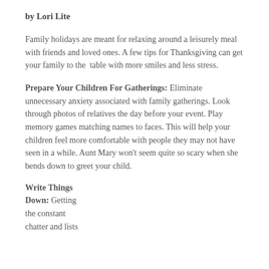by Lori Lite
Family holidays are meant for relaxing around a leisurely meal with friends and loved ones. A few tips for Thanksgiving can get your family to the  table with more smiles and less stress.
Prepare Your Children For Gatherings: Eliminate unnecessary anxiety associated with family gatherings. Look through photos of relatives the day before your event. Play memory games matching names to faces. This will help your children feel more comfortable with people they may not have seen in a while. Aunt Mary won’t seem quite so scary when she bends down to greet your child.
Write Things Down: Getting the constant chatter and lists